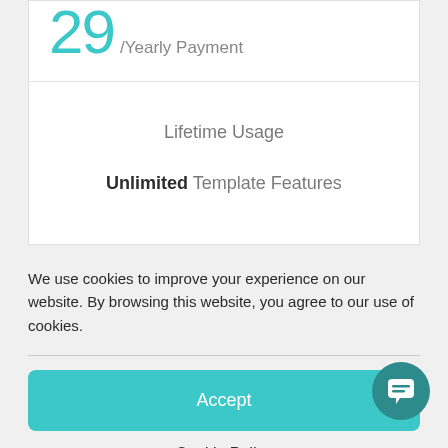29 /Yearly Payment
Lifetime Usage
Unlimited Template Features
We use cookies to improve your experience on our website. By browsing this website, you agree to our use of cookies.
Accept
Cookie Policy